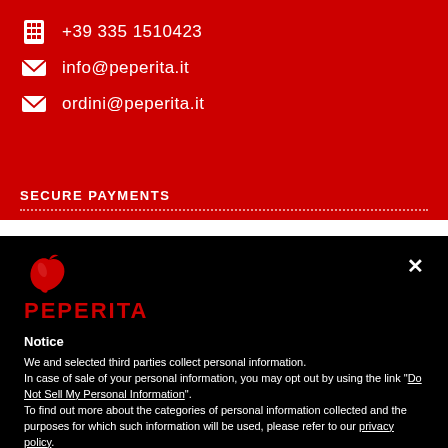+39 335 1510423
info@peperita.it
ordini@peperita.it
SECURE PAYMENTS
[Figure (logo): Peperita red chili pepper logo with the wordmark PEPERITA in red below it, on black background]
Notice
We and selected third parties collect personal information. In case of sale of your personal information, you may opt out by using the link "Do Not Sell My Personal Information". To find out more about the categories of personal information collected and the purposes for which such information will be used, please refer to our privacy policy.